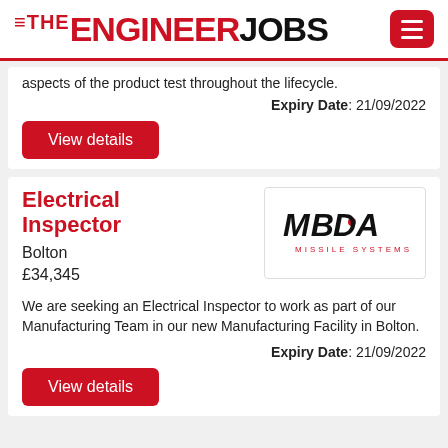THE ENGINEER JOBS
aspects of the product test throughout the lifecycle.
Expiry Date : 21/09/2022
View details
Electrical Inspector
Bolton
£34,345
[Figure (logo): MBDA Missile Systems company logo]
We are seeking an Electrical Inspector to work as part of our Manufacturing Team in our new Manufacturing Facility in Bolton.
Expiry Date : 21/09/2022
View details